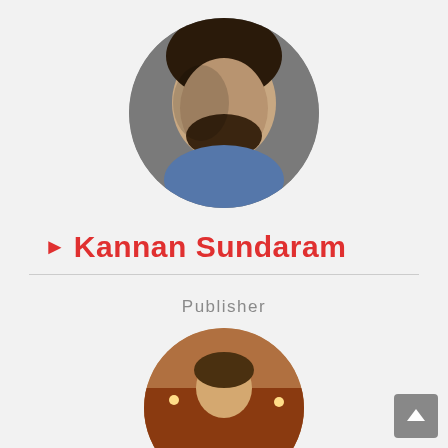[Figure (photo): Circular profile photo of a man with dark hair and beard]
Kannan Sundaram
Publisher
Kalachuvadu Publication
[Figure (photo): Circular profile photo of another person, partially visible at bottom of page]